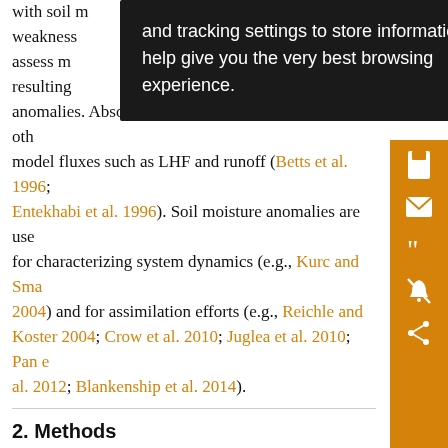with soil moisture weaknesses to assess model resulting and moisture anomalies. Absolute values affect the magnitude of other model fluxes such as LHF and runoff (Betts et al. 1996; Entekhabi et al. 1996). Soil moisture anomalies are used for characterizing system dynamics (e.g., Kurc and Small 2004) and for assimilation efforts (e.g., Reichle and Koster 2004; Crow et al. 2010; Juglea et al. 2010; Pan et al. 2012; Blankenship et al. 2014).
2. Methods
The model setup mimics that of the Noah LSM (Chen and Dudhia 2001; Ek et al. 2003) in phase 2 of the North American Land Data Assimilation System (NLDAS-2;